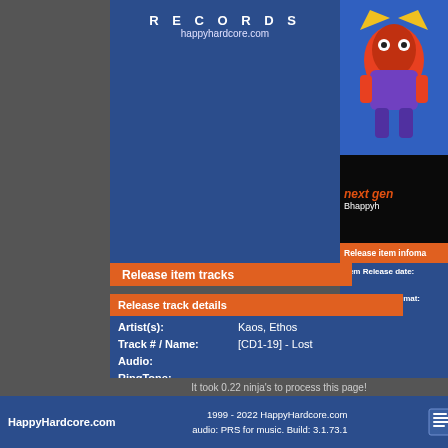[Figure (logo): HappyHardcore.com Records logo header banner with text RECORDS and happyhardcore.com URL]
[Figure (illustration): Colorful cartoon robot/character illustration in yellow, red, purple and blue tones]
[Figure (screenshot): Next gen happyhardcore banner with orange italic text on black background]
Release item infomation
Item Release date:
Item release format: CD - compi
Release item tracks
Release track details
Artist(s): Kaos, Ethos
Track # / Name: [CD1-19] - Lost
Audio:
RingTone:
Creation Date: 2003/05/26
Last Updated: 2003/05/26
Lyrics:
It took 0.22 ninja's to process this page!
HappyHardcore.com  1999 - 2022 HappyHardcore.com  audio: PRS for music. Build: 3.1.73.1